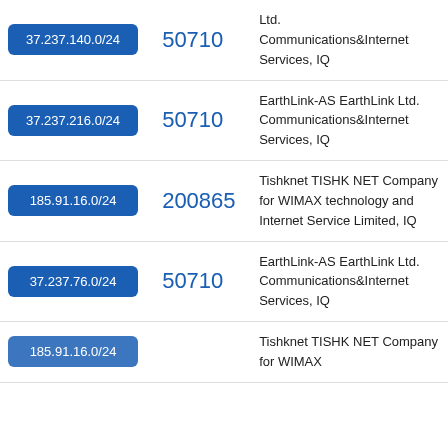| IP Range | ASN | Description |
| --- | --- | --- |
| 37.237.140.0/24 | 50710 | Ltd. Communications&Internet Services, IQ |
| 37.237.216.0/24 | 50710 | EarthLink-AS EarthLink Ltd. Communications&Internet Services, IQ |
| 185.91.16.0/24 | 200865 | Tishknet TISHK NET Company for WIMAX technology and Internet Service Limited, IQ |
| 37.237.76.0/24 | 50710 | EarthLink-AS EarthLink Ltd. Communications&Internet Services, IQ |
| (partial) | (partial) | Tishknet TISHK NET Company for WIMAX ... |